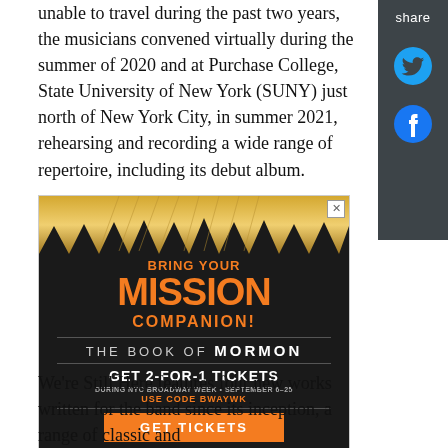unable to travel during the past two years, the musicians convened virtually during the summer of 2020 and at Purchase College, State University of New York (SUNY) just north of New York City, in summer 2021, rehearsing and recording a wide range of repertoire, including its debut album.
[Figure (photo): Advertisement for The Book of Mormon Broadway show. Gold spiky decorative top with orange text reading 'BRING YOUR MISSION COMPANION! THE BOOK OF MORMON' on dark background. 'GET 2-FOR-1 TICKETS DURING NYC BROADWAY WEEK • SEPTEMBER 6-25 USE CODE BWAYWK' with orange GET TICKETS button.]
We're Still Here features four new works written for the band since its inception, a range of classic and